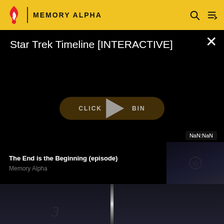MEMORY ALPHA
Star Trek Timeline [INTERACTIVE]
[Figure (screenshot): Video player with black background showing 'Star Trek Timeline [INTERACTIVE]' title, a pill-shaped 'CLICK TO BEGIN' button with a play triangle overlaid, and a NaN:NaN timestamp badge in the bottom right.]
The End is the Beginning (episode)
Memory Alpha
[Figure (photo): Dark cinematic image split into two panels by a vertical light streak, with a small stylized number 3 or similar emblem visible in the lower center of the left panel.]